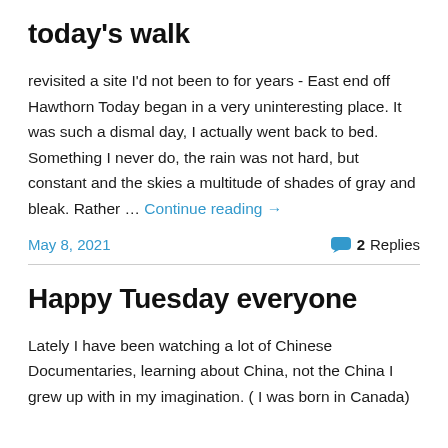today's walk
revisited a site I'd not been to for years - East end off Hawthorn Today began in a very uninteresting place. It was such a dismal day, I actually went back to bed. Something I never do, the rain was not hard, but constant and the skies a multitude of shades of gray and bleak. Rather … Continue reading →
May 8, 2021   2 Replies
Happy Tuesday everyone
Lately I have been watching a lot of Chinese Documentaries, learning about China, not the China I grew up with in my imagination. ( I was born in Canada)